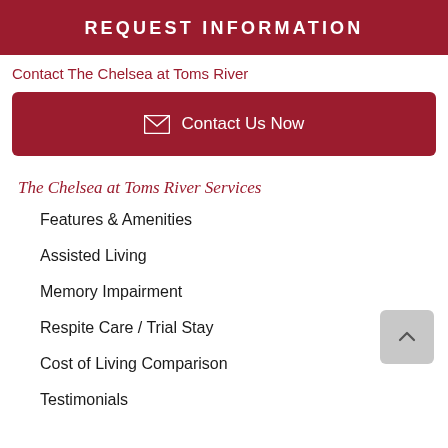REQUEST INFORMATION
Contact The Chelsea at Toms River
Contact Us Now
The Chelsea at Toms River Services
Features & Amenities
Assisted Living
Memory Impairment
Respite Care / Trial Stay
Cost of Living Comparison
Testimonials